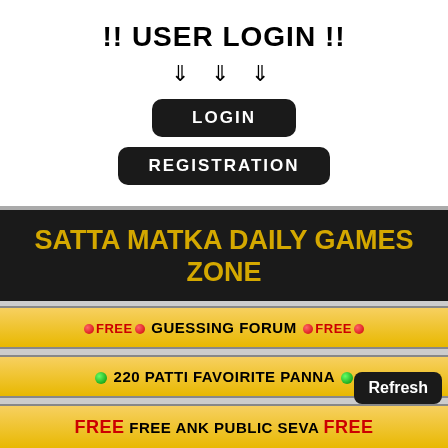!! USER LOGIN !!
⇓ ⇓ ⇓
LOGIN
REGISTRATION
SATTA MATKA DAILY GAMES ZONE
🔴FREE🔴 GUESSING FORUM 🔴FREE🔴
🟢 220 PATTI FAVOIRITE PANNA 🟢
FREE FREE ANK PUBLIC SEVA FREE